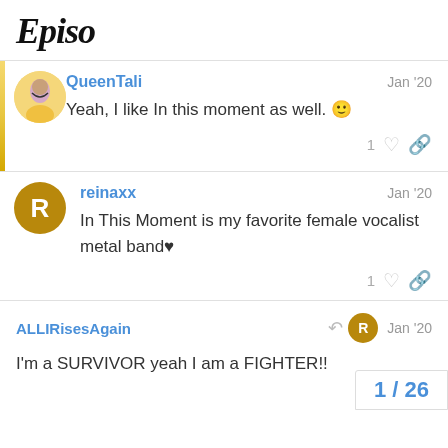Episo
QueenTali  Jan '20
Yeah, I like In this moment as well. 🙂
reinaxx  Jan '20
In This Moment is my favorite female vocalist metal band🖤
ALLIRisesAgain  Jan '20
I'm a SURVIVOR yeah I am a FIGHTER!!
1 / 26